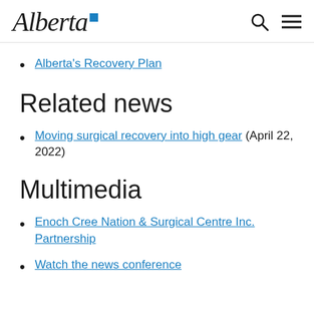Alberta [logo]
Alberta's Recovery Plan
Related news
Moving surgical recovery into high gear (April 22, 2022)
Multimedia
Enoch Cree Nation & Surgical Centre Inc. Partnership
Watch the news conference